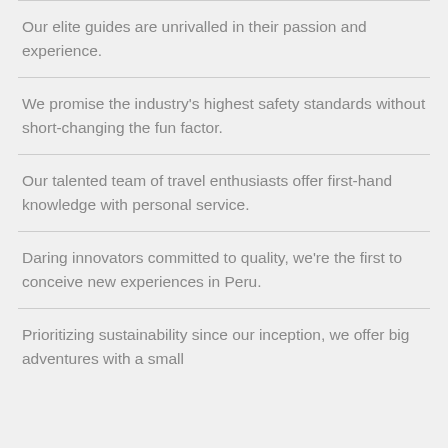Our elite guides are unrivalled in their passion and experience.
We promise the industry's highest safety standards without short-changing the fun factor.
Our talented team of travel enthusiasts offer first-hand knowledge with personal service.
Daring innovators committed to quality, we're the first to conceive new experiences in Peru.
Prioritizing sustainability since our inception, we offer big adventures with a small